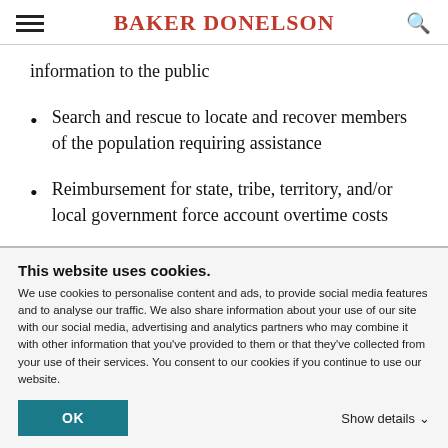BAKER DONELSON
information to the public
Search and rescue to locate and recover members of the population requiring assistance
Reimbursement for state, tribe, territory, and/or local government force account overtime costs
This website uses cookies.
We use cookies to personalise content and ads, to provide social media features and to analyse our traffic. We also share information about your use of our site with our social media, advertising and analytics partners who may combine it with other information that you've provided to them or that they've collected from your use of their services. You consent to our cookies if you continue to use our website.
OK
Show details